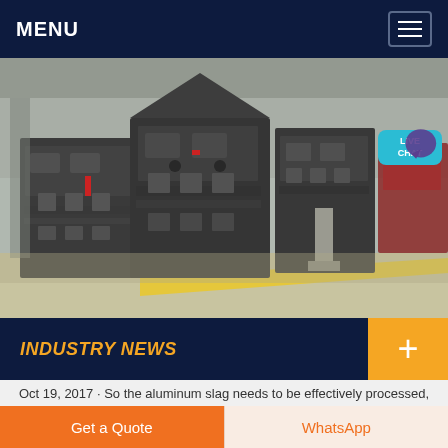MENU
[Figure (photo): Industrial heavy machinery (impact crushers or mill equipment) lined up in a manufacturing/warehouse facility. Multiple large dark-grey metal machines with bolted panels are arranged in a row. A yellow safety line is visible on the floor.]
INDUSTRY NEWS
Oct 19, 2017 · So the aluminum slag needs to be effectively processed, rather than directly
Get a Quote
WhatsApp